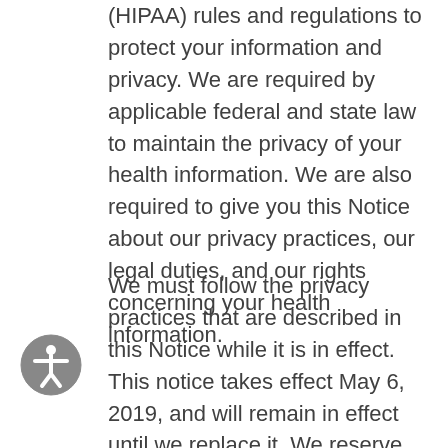(HIPAA) rules and regulations to protect your information and privacy. We are required by applicable federal and state law to maintain the privacy of your health information. We are also required to give you this Notice about our privacy practices, our legal duties, and our rights concerning your health information.
We must follow the privacy practices that are described in this Notice while it is in effect. This notice takes effect May 6, 2019, and will remain in effect until we replace it. We reserve the right to change our privacy practices and the terms of this Notice at any time, provided such changes are permitted by applicable law. We reserve the right to make the changes in our